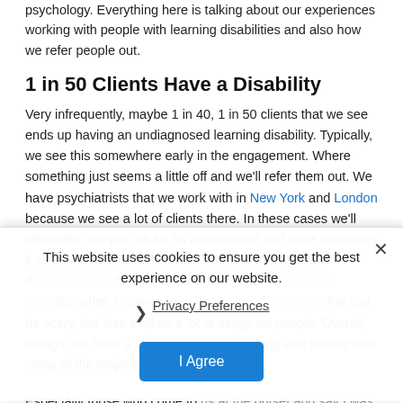psychology. Everything here is talking about our experiences working with people with learning disabilities and also how we refer people out.
1 in 50 Clients Have a Disability
Very infrequently, maybe 1 in 40, 1 in 50 clients that we see ends up having an undiagnosed learning disability. Typically, we see this somewhere early in the engagement. Where something just seems a little off and we'll refer them out. We have psychiatrists that we work with in New York and London because we see a lot of clients there. In these cases we'll often refer people out for an assessment and quite frequently it comes back where they're 25, 30, 35, and are just discovering for the first time that they have a learning disability when it comes to reading and writing. And that can be scary, but also explain a lot of things for people. Overall, though, we have a lot of experience working with people with many of the major learning disabilities.
Especially those who come to us at the outset and say I was
[Figure (screenshot): Cookie consent banner overlay with close button (×), message 'This website uses cookies to ensure you get the best experience on our website.', a 'Privacy Preferences' link with chevron, and an 'I Agree' blue button.]